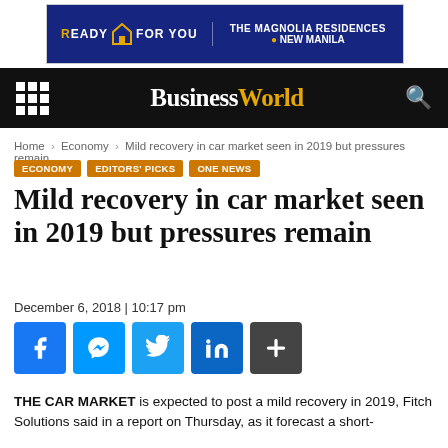[Figure (advertisement): Ad banner: READY FOR YOU / THE MAGNOLIA RESIDENCES NEW MANILA on dark blue background]
BusinessWorld navigation bar with grid menu icon, BusinessWorld logo, and search icon
Home › Economy › Mild recovery in car market seen in 2019 but pressures remain
ECONOMY
EDITORS' PICKS
ONE NEWS
Mild recovery in car market seen in 2019 but pressures remain
December 6, 2018 | 10:17 pm
[Figure (infographic): Social sharing buttons: Facebook, Messenger, Twitter, LinkedIn, More]
THE CAR MARKET is expected to post a mild recovery in 2019, Fitch Solutions said in a report on Thursday, as it forecast a short-